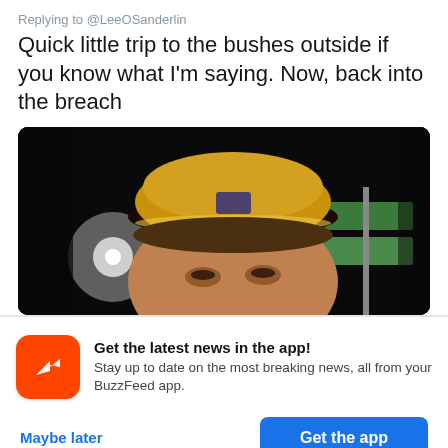Replying to @LeeOSanderlin
Quick little trip to the bushes outside if you know what I'm saying. Now, back into the breach
[Figure (photo): Nighttime selfie of a man wearing a yellow baseball cap, outdoors with dark background and a bright light behind him, and a green street sign visible.]
Get the latest news in the app! Stay up to date on the most breaking news, all from your BuzzFeed app.
Maybe later
Get the app